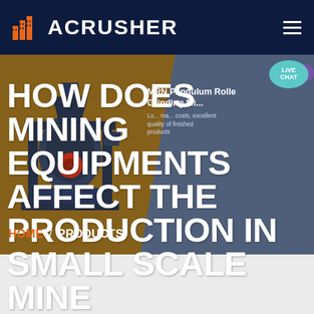ACRUSHER
HOW DOES MINING EQUIPMENTS AFFECT THE PRODUCTION IN SMALL SCALE MINE
[Figure (screenshot): Website screenshot showing ACRUSHER brand header with dark navy background, logo icon in orange, hamburger menu. Hero section with brown and slate-gray split background featuring a mining machine (MRN Pendulum Roller Grinding Mill), overlaid large white bold title text, and a live chat button in teal.]
MRN Pendulum Roller Grinding Mill
Low production, maintenance costs, excellent quality of finished products
HOME  /  PRODUCTS